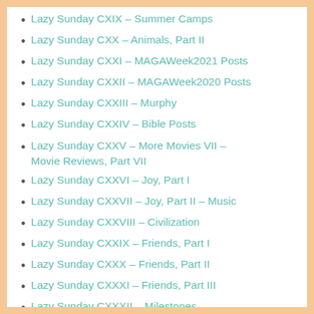Lazy Sunday CXIX – Summer Camps
Lazy Sunday CXX – Animals, Part II
Lazy Sunday CXXI – MAGAWeek2021 Posts
Lazy Sunday CXXII – MAGAWeek2020 Posts
Lazy Sunday CXXIII – Murphy
Lazy Sunday CXXIV – Bible Posts
Lazy Sunday CXXV – More Movies VII – Movie Reviews, Part VII
Lazy Sunday CXXVI – Joy, Part I
Lazy Sunday CXXVII – Joy, Part II – Music
Lazy Sunday CXXVIII – Civilization
Lazy Sunday CXXIX – Friends, Part I
Lazy Sunday CXXX – Friends, Part II
Lazy Sunday CXXXI – Friends, Part III
Lazy Sunday CXXXII – Milestones
Lazy Sunday CXXXIII – Inspector Gerard
Lazy Sunday CXXXIV – Friends, Part IV
Lazy Sunday CXXXV – More Movies VIII –